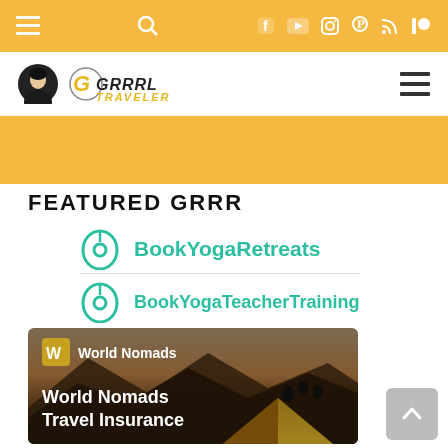GrrrlTraveler website navigation bar with hamburger menu, search, Facebook, YouTube, Instagram, Pinterest, RSS, Patreon icons
[Figure (logo): GrrrlTraveler site logo with avatar and hamburger menu]
[Figure (other): Orange advertisement/banner band]
FEATURED GRRR
[Figure (logo): BookYogaRetreats logo with teal leaf/circle icon and teal text]
[Figure (logo): BookYogaTeacherTraining logo with teal icon and teal text]
[Figure (infographic): World Nomads Travel Insurance banner showing silhouettes of people on a mountain with tent, orange/dark background. Text reads: World Nomads Travel Insurance]
[Figure (other): Scroll-to-top button (gray rounded rectangle with up arrow)]